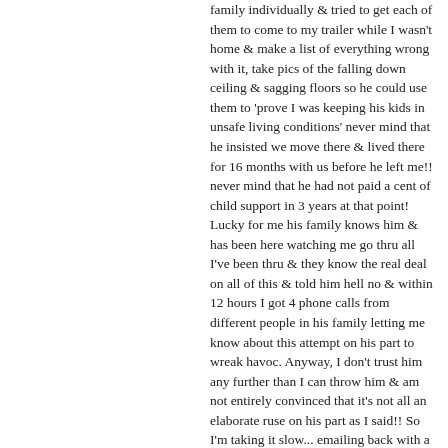family individually & tried to get each of them to come to my trailer while I wasn't home & make a list of everything wrong with it, take pics of the falling down ceiling & sagging floors so he could use them to 'prove I was keeping his kids in unsafe living conditions' never mind that he insisted we move there & lived there for 16 months with us before he left me!! never mind that he had not paid a cent of child support in 3 years at that point! Lucky for me his family knows him & has been here watching me go thru all I've been thru & they know the real deal on all of this & told him hell no & within 12 hours I got 4 phone calls from different people in his family letting me know about this attempt on his part to wreak havoc. Anyway, I don't trust him any further than I can throw him & am not entirely convinced that it's not all an elaborate ruse on his part as I said!! So I'm taking it slow... emailing back with a